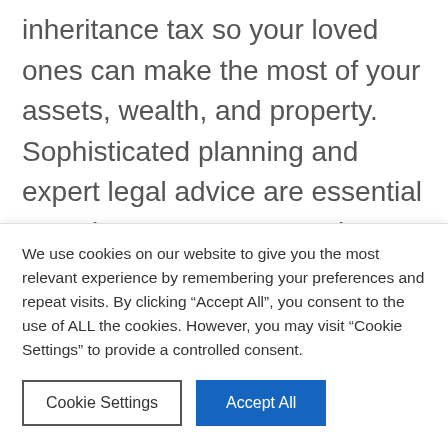inheritance tax so your loved ones can make the most of your assets, wealth, and property. Sophisticated planning and expert legal advice are essential to make sure your estate is inheritance tax (IHT) efficient, particularly if you own businesses or significant assets. We can advise you on how to take advantage of the complex web of IHT reliefs and exemptions and maximise the inheritance you pass on to
We use cookies on our website to give you the most relevant experience by remembering your preferences and repeat visits. By clicking "Accept All", you consent to the use of ALL the cookies. However, you may visit "Cookie Settings" to provide a controlled consent.